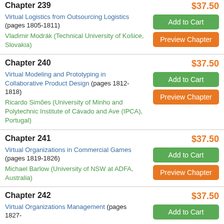Chapter 239
Virtual Logistics from Outsourcing Logistics (pages 1805-1811)
Vladimir Modrák (Technical University of Košice, Slovakia)
$37.50
Chapter 240
Virtual Modeling and Prototyping in Collaborative Product Design (pages 1812-1818)
Ricardo Simões (University of Minho and Polytechnic Institute of Cávado and Ave (IPCA), Portugal)
$37.50
Chapter 241
Virtual Organizations in Commercial Games (pages 1819-1826)
Michael Barlow (University of NSW at ADFA, Australia)
$37.50
Chapter 242
Virtual Organizations Management (pages 1827-
$37.50